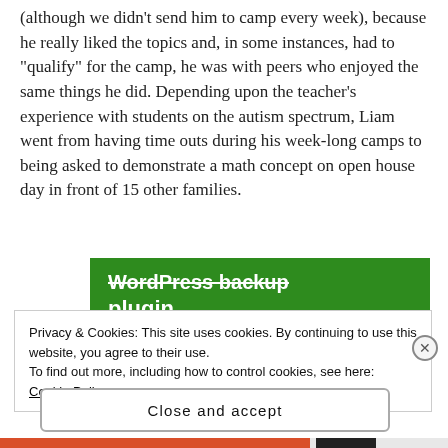(although we didn't send him to camp every week), because he really liked the topics and, in some instances, had to “qualify” for the camp, he was with peers who enjoyed the same things he did. Depending upon the teacher’s experience with students on the autism spectrum, Liam went from having time outs during his week-long camps to being asked to demonstrate a math concept on open house day in front of 15 other families.
[Figure (screenshot): Partial green banner for WordPress backup plugin advertisement]
Privacy & Cookies: This site uses cookies. By continuing to use this website, you agree to their use.
To find out more, including how to control cookies, see here: Cookie Policy
Close and accept